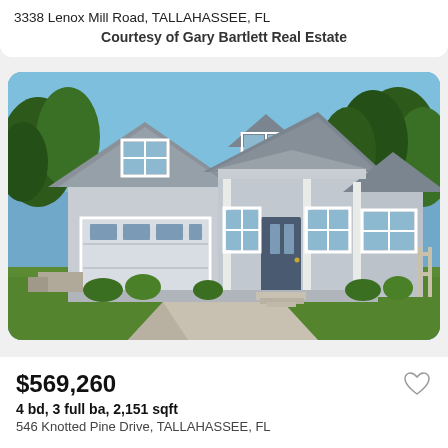3338 Lenox Mill Road, TALLAHASSEE, FL
Courtesy of Gary Bartlett Real Estate
[Figure (photo): Exterior photo of a two-story craftsman-style home with gray siding, dark gray roof, two-car garage, covered front porch, and green lawn with concrete driveway, trees in background.]
$569,260
4 bd, 3 full ba, 2,151 sqft
546 Knotted Pine Drive, TALLAHASSEE, FL